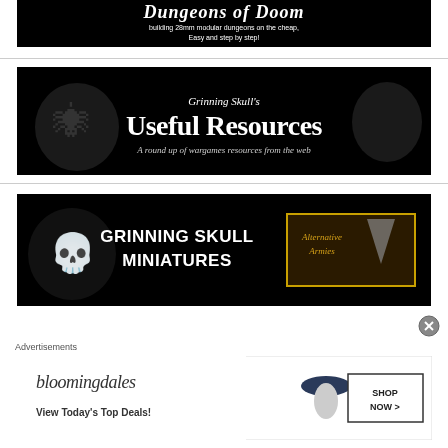[Figure (illustration): Dungeons of Doom banner: black background with white stylized text 'Dungeons of Doom' and subtitle 'building 28mm modular dungeons on the cheap, Easy and step by step!']
[Figure (illustration): Grinning Skull's Useful Resources banner: black background with monster illustrations on left and right, white text 'Grinning Skull's Useful Resources' and subtitle 'A round up of wargames resources from the web']
[Figure (illustration): Grinning Skull Miniatures and Alternative Armies banner: black background with skull illustration, white bold text 'GRINNING SKULL MINIATURES' and Alternative Armies logo with gold border]
Advertisements
[Figure (illustration): Bloomingdale's advertisement: white background with 'bloomingdales' logo, 'View Today's Top Deals!' text, woman with hat, and 'SHOP NOW >' button]